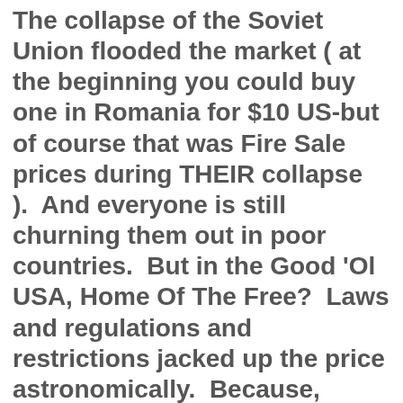The collapse of the Soviet Union flooded the market ( at the beginning you could buy one in Romania for $10 US-but of course that was Fire Sale prices during THEIR collapse ).  And everyone is still churning them out in poor countries.  But in the Good 'Ol USA, Home Of The Free?  Laws and regulations and restrictions jacked up the price astronomically.  Because, basically, we didn't want all the screwed over poor folk well armed.
*
It is okay if Roger The Redneck is pissed at illegal Mexicans taking his job at the only factory in three counties up in the Appalachians, as long as he can only afford a 12 gauge shotgun only good for